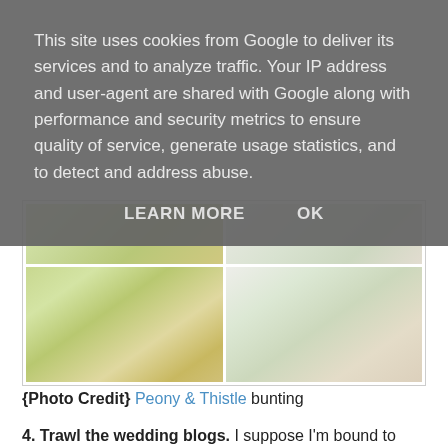This site uses cookies from Google to deliver its services and to analyze traffic. Your IP address and user-agent are shared with Google along with performance and security metrics to ensure quality of service, generate usage statistics, and to detect and address abuse.
LEARN MORE   OK
[Figure (photo): Wedding bunting and circular decorations in green and yellow floral patterns, shown in a 2x2 grid photo collage]
{Photo Credit} Peony & Thistle bunting
4. Trawl the wedding blogs. I suppose I'm bound to think this, but honestly the wedding blogs are the best place for free wedding inspiration. Personally I recommend checking out the Real Weddings section of any wedding blog. That's where you can beg, borrow and steal other brides' wedding ideas, and keep up on all the latest wedding trends. My